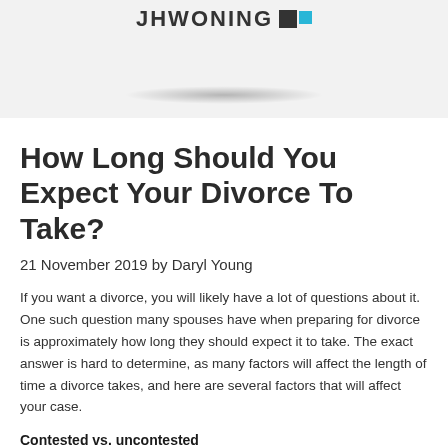[Figure (logo): JH Woning logo with two squares (dark and cyan) and shadow underneath on light gray background]
How Long Should You Expect Your Divorce To Take?
21 November 2019 by Daryl Young
If you want a divorce, you will likely have a lot of questions about it. One such question many spouses have when preparing for divorce is approximately how long they should expect it to take. The exact answer is hard to determine, as many factors will affect the length of time a divorce takes, and here are several factors that will affect your case.
Contested vs. uncontested